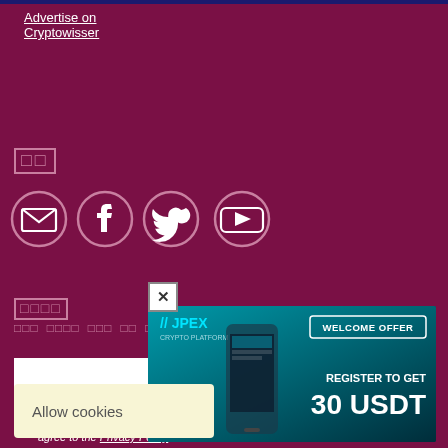Advertise on Cryptowisser
□□
[Figure (illustration): Four social media icons in outline style on dark maroon background: envelope/email, Facebook, Twitter, YouTube]
□□□□
□□□ □□□□ □□□ □□ □□□□ □□□□□□ □□ □□□ □□□ □□ □□□□ □□□.
I hereby consent to the processing of the personal data that I have provided and agree to the Privacy Policy
[Figure (infographic): JPEX Crypto Platform advertisement banner with teal/dark background. Shows JPEX logo, a smartphone, WELCOME OFFER badge, and text: REGISTER TO GET 30 USDT]
Allow cookies